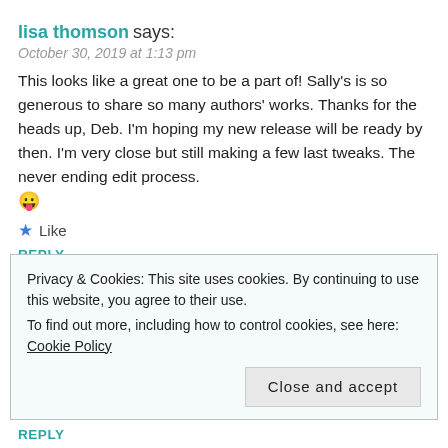lisa thomson says:
October 30, 2019 at 1:13 pm
This looks like a great one to be a part of! Sally's is so generous to share so many authors' works. Thanks for the heads up, Deb. I'm hoping my new release will be ready by then. I'm very close but still making a few last tweaks. The never ending edit process. 😛
★ Like
REPLY
Privacy & Cookies: This site uses cookies. By continuing to use this website, you agree to their use.
To find out more, including how to control cookies, see here: Cookie Policy
Close and accept
REPLY